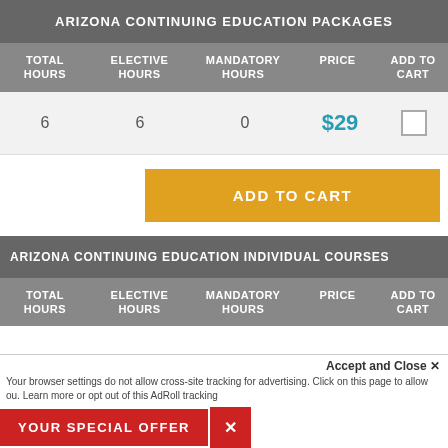ARIZONA CONTINUING EDUCATION PACKAGES
| TOTAL HOURS | ELECTIVE HOURS | MANDATORY HOURS | PRICE | ADD TO CART |
| --- | --- | --- | --- | --- |
| 6 | 6 | 0 | $29 |  |
ADD TO CART
ARIZONA CONTINUING EDUCATION INDIVIDUAL COURSES
| TOTAL HOURS | ELECTIVE HOURS | MANDATORY HOURS | PRICE | ADD TO CART |
| --- | --- | --- | --- | --- |
Accept and Close ✕
Your browser settings do not allow cross-site tracking for advertising. Click on this page to allow ou. Learn more or opt out of this AdRoll tracking
YOUR SPECIAL OFFER  ✕